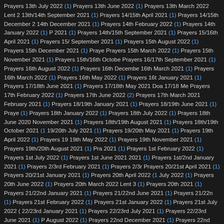Prayers 13th July 2022 (1) Prayers 13th June 2022 (1) Prayers 13th March 2022 Lent 2 13th/14th September 2021 (1) Prayers 14/15th April 2021 (1) Prayers 14/15th December 2 14th December 2021 (1) Prayers 14th February 2022 (1) Prayers 14th January 2022 (1) P 2021 (1) Prayers 14th/15th September 2021 (1) Prayers 15/16th April 2021 (1) Prayers 15/ September 2021 (1) Prayers 15th August 2022 (1) Prayers 15th December 2021 (1) Praye Prayers 15th March 2022 (1) Prayers 15th November 2021 (1) Prayers 15th/16th Octobe Prayers 16/17th September 2021 (1) Prayers 16th August 2022 (1) Prayers 16th Decembe 16th March 2021 (1) Prayers 16th March 2022 (1) Prayers 16th May 2022 (1) Prayers 16t January 2021 (1) Prayers 17/18th June 2021 (1) Prayers 17/18th May 2021 Doa 17/18 Me Prayers 17th February 2022 (1) Prayers 17th June 2022 (2) Prayers 17th March 2021 February 2021 (1) Prayers 18/19th January 2021 (1) Prayers 18/19th June 2021 (1) Praye (1) Prayers 18th January 2022 (1) Prayers 18th July 2022 (1) Prayers 18th June 2020 November 2021 (1) Prayers 18th/19th August 2021 (1) Prayers 18th/19th October 2021 (1 19/20th July 2021 (1) Prayers 19/20th May 2021 (1) Prayers 19th April 2022 (1) Prayers 19 19th May 2022 (1) Prayers 19th November 2021 (1) Prayers 19th/20th August 2021 (1) Pra 2021 (1) Prayers 1st February 2022 (1) Prayers 1st July 2022 (1) Prayers 1st June 2021 2021 (1) Prayers 1st/2nd January 2021 (1) Prayers 2/3rd February 2021 (1) Prayers 2/3r Prayers 20/21st April 2021 (1) Prayers 20/21st January 2021 (1) Prayers 20th April 2022 (1 July 2022 (1) Prayers 20th June 2022 (1) Prayers 20th March 2022 Lent 3 (1) Prayers 20th 2021 (1) Prayers 21/22nd January 2021 (1) Prayers 21/22nd June 2021 (1) Prayers 21/22n (1) Prayers 21st February 2022 (1) Prayers 21st January 2022 (1) Prayers 21st July 2022 ( 22/23rd January 2021 (1) Prayers 22/23rd July 2021 (1) Prayers 22/23rd June 2021 (1) P August 2022 (1) Prayers 22nd December 2021 (1) Prayers 22nd February 2022 (1) Praye Prayers 22nd November 2021 (1) Prayers 22nd/21st December 2020 (1) Prayers 22nd/ August 2022 (1) Prayers 23rd December 2020 (1) Prayers 23rd December 2021 (1)